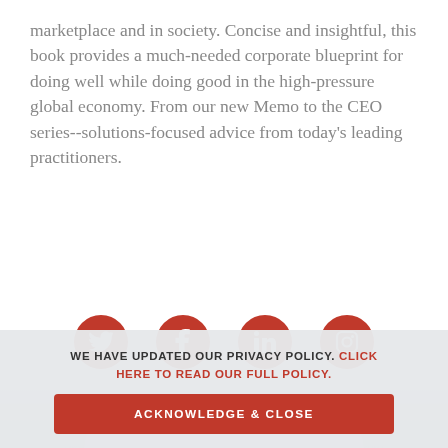marketplace and in society. Concise and insightful, this book provides a much-needed corporate blueprint for doing well while doing good in the high-pressure global economy. From our new Memo to the CEO series--solutions-focused advice from today's leading practitioners.
[Figure (infographic): Four red circular social media icons in a row: Twitter bird, Facebook f, LinkedIn in, Instagram camera]
[Figure (photo): Background image of white earbuds/earphones against a light blue-grey surface]
WE HAVE UPDATED OUR PRIVACY POLICY. CLICK HERE TO READ OUR FULL POLICY.
ACKNOWLEDGE & CLOSE